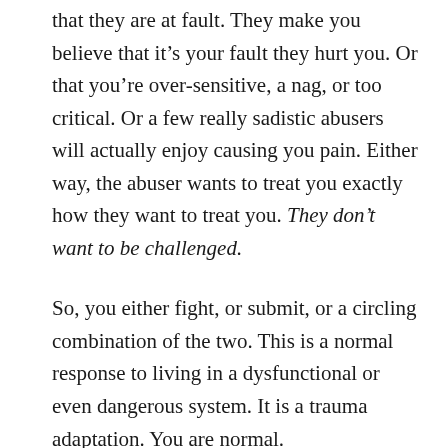that they are at fault. They make you believe that it’s your fault they hurt you. Or that you’re over-sensitive, a nag, or too critical. Or a few really sadistic abusers will actually enjoy causing you pain. Either way, the abuser wants to treat you exactly how they want to treat you. They don’t want to be challenged.
So, you either fight, or submit, or a circling combination of the two. This is a normal response to living in a dysfunctional or even dangerous system. It is a trauma adaptation. You are normal.
In this article, I explore what happens to your boundaries in an abusive relationship, and this comes as how will be changed by